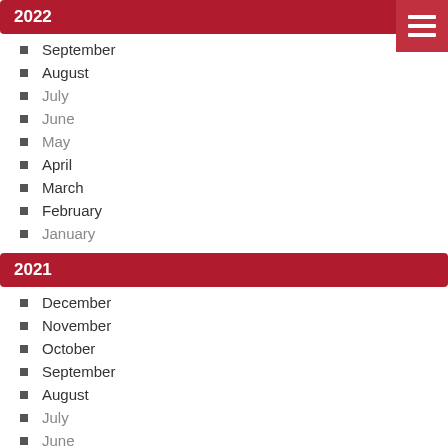2022
September
August
July
June
May
April
March
February
January
2021
December
November
October
September
August
July
June